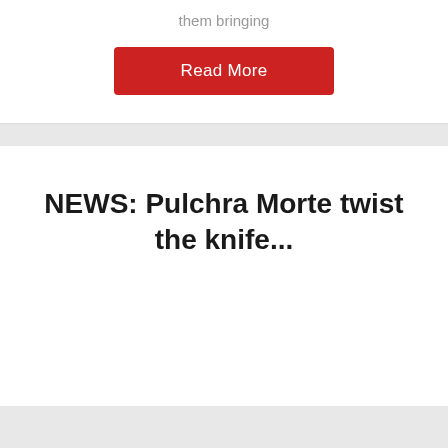them bringing
Read More
NEWS: Pulchra Morte twist the knife...